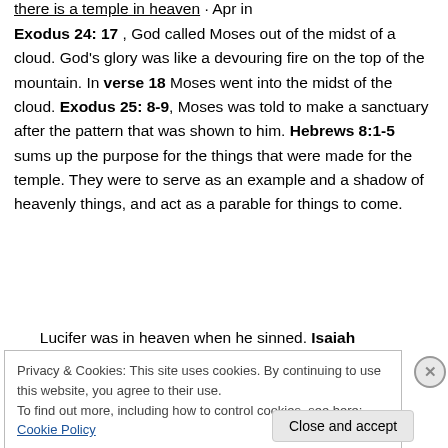Exodus 24: 17, God called Moses out of the midst of a cloud. God's glory was like a devouring fire on the top of the mountain. In verse 18 Moses went into the midst of the cloud. Exodus 25: 8-9, Moses was told to make a sanctuary after the pattern that was shown to him. Hebrews 8:1-5 sums up the purpose for the things that were made for the temple. They were to serve as an example and a shadow of heavenly things, and act as a parable for things to come.
Lucifer was in heaven when he sinned. Isaiah
Privacy & Cookies: This site uses cookies. By continuing to use this website, you agree to their use. To find out more, including how to control cookies, see here: Cookie Policy